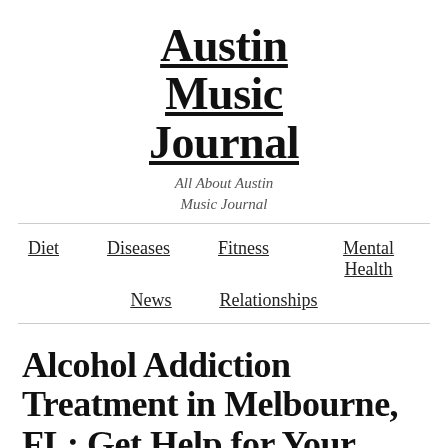Austin Music Journal
All About Austin Music Journal
Diet  Diseases  Fitness  Mental Health  News  Relationships
Alcohol Addiction Treatment in Melbourne, FL: Get Help for Your Drinking Problem